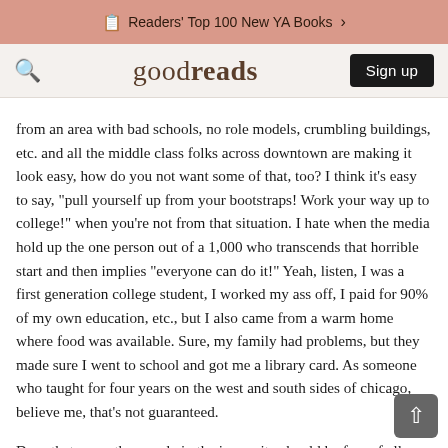Readers' Top 100 New YA Books >
goodreads  Sign up
from an area with bad schools, no role models, crumbling buildings, etc. and all the middle class folks across downtown are making it look easy, how do you not want some of that, too? I think it's easy to say, "pull yourself up from your bootstraps! Work your way up to college!" when you're not from that situation. I hate when the media hold up the one person out of a 1,000 who transcends that horrible start and then implies "everyone can do it!" Yeah, listen, I was a first generation college student, I worked my ass off, I paid for 90% of my own education, etc., but I also came from a warm home where food was available. Sure, my family had problems, but they made sure I went to school and got me a library card. As someone who taught for four years on the west and south sides of chicago, believe me, that's not guaranteed.
Does that mean the people in the inner city should be free of all moral responsibility? Of course not. It does mean, in my eyes, that social and economic programs could play a role in improving conditions. Our government, including us, plays a